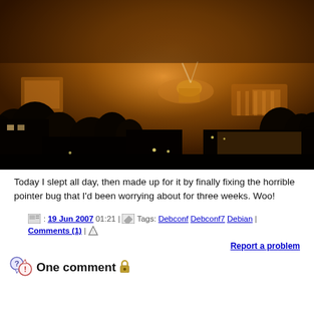[Figure (photo): Night cityscape photo showing illuminated buildings and sky with orange/amber glow, dark silhouetted trees and rooftops in foreground.]
Today I slept all day, then made up for it by finally fixing the horrible pointer bug that I'd been worrying about for three weeks. Woo!
: 19 Jun 2007 01:21 | Tags: Debconf Debconf7 Debian | Comments (1) | Report a problem
One comment